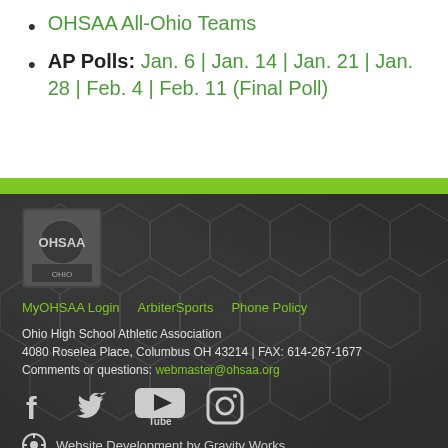OHSAA All-Ohio Teams
AP Polls: Jan. 6 | Jan. 14 | Jan. 21 | Jan. 28 | Feb. 4 | Feb. 11 (Final Poll)
MyOHSAA Login   ArbiterSports   Phone Policy
Ohio High School Athletic Association
4080 Roselea Place, Columbus OH 43214 | FAX: 614-267-1677
Comments or questions: webmaster@ohsaa.org
Website Development by Gravity Works